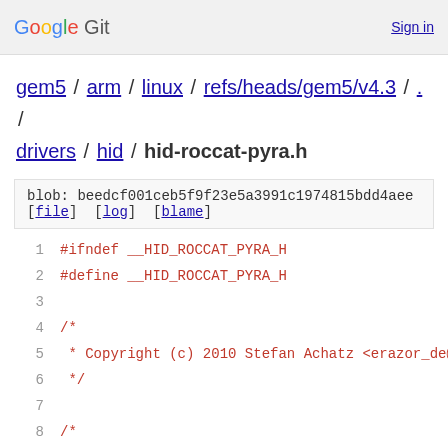Google Git  Sign in
gem5 / arm / linux / refs/heads/gem5/v4.3 / . / drivers / hid / hid-roccat-pyra.h
blob: beedcf001ceb5f9f23e5a3991c1974815bdd4aee [file] [log] [blame]
1  #ifndef __HID_ROCCAT_PYRA_H
2  #define __HID_ROCCAT_PYRA_H
3
4  /*
5   * Copyright (c) 2010 Stefan Achatz <erazor_de@
6   */
7
8  /*
9   * This program is free software; you can redis
10  * under the terms of the GNU General Public Li
11  * Software Foundation; either version 2 of the